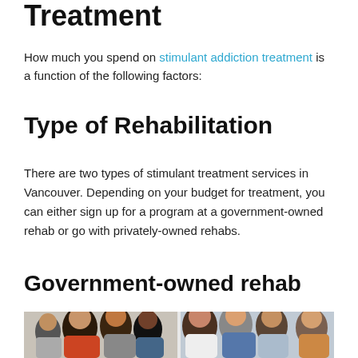Treatment
How much you spend on stimulant addiction treatment is a function of the following factors:
Type of Rehabilitation
There are two types of stimulant treatment services in Vancouver. Depending on your budget for treatment, you can either sign up for a program at a government-owned rehab or go with privately-owned rehabs.
Government-owned rehab
[Figure (photo): Group of people in a therapy or rehabilitation session, shown in two groups side by side.]